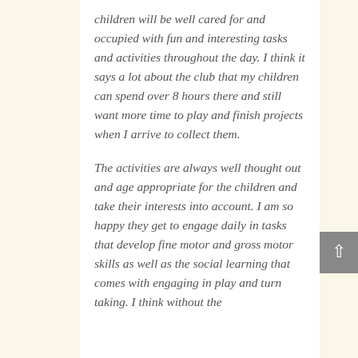children will be well cared for and occupied with fun and interesting tasks and activities throughout the day. I think it says a lot about the club that my children can spend over 8 hours there and still want more time to play and finish projects when I arrive to collect them.
The activities are always well thought out and age appropriate for the children and take their interests into account. I am so happy they get to engage daily in tasks that develop fine motor and gross motor skills as well as the social learning that comes with engaging in play and turn taking. I think without the